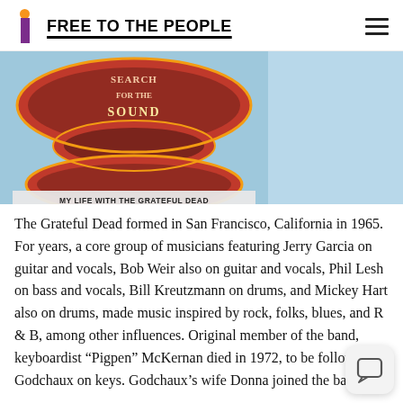FREE TO THE PEOPLE
[Figure (photo): Book cover showing colorful psychedelic text reading 'Search for the Sound' with subtitle 'MY LIFE WITH THE GRATEFUL DEAD' on a blue background]
The Grateful Dead formed in San Francisco, California in 1965. For years, a core group of musicians featuring Jerry Garcia on guitar and vocals, Bob Weir also on guitar and vocals, Phil Lesh on bass and vocals, Bill Kreutzmann on drums, and Mickey Hart also on drums, made music inspired by rock, folks, blues, and R & B, among other influences. Original member of the band, keyboardist "Pigpen" McKernan died in 1972, to be followed by Godchaux on keys. Godchaux's wife Donna joined the band